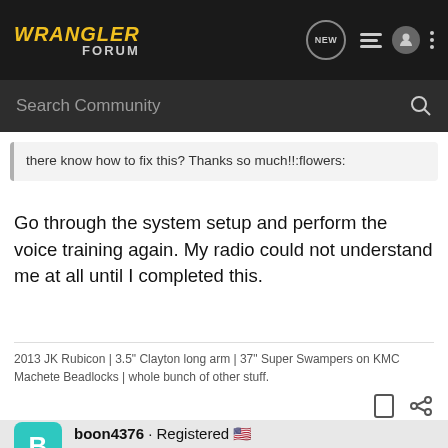WRANGLER FORUM
Search Community
there know how to fix this? Thanks so much!!:flowers:
Go through the system setup and perform the voice training again. My radio could not understand me at all until I completed this.
2013 JK Rubicon | 3.5" Clayton long arm | 37" Super Swampers on KMC Machete Beadlocks | whole bunch of other stuff.
boon4376 · Registered 🇺🇸
Joined Jul 2, 2013 · 191 Posts